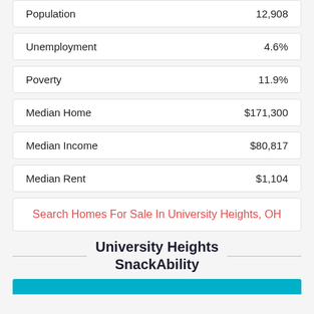| Metric | Value |
| --- | --- |
| Population | 12,908 |
| Unemployment | 4.6% |
| Poverty | 11.9% |
| Median Home | $171,300 |
| Median Income | $80,817 |
| Median Rent | $1,104 |
Search Homes For Sale In University Heights, OH
University Heights SnackAbility